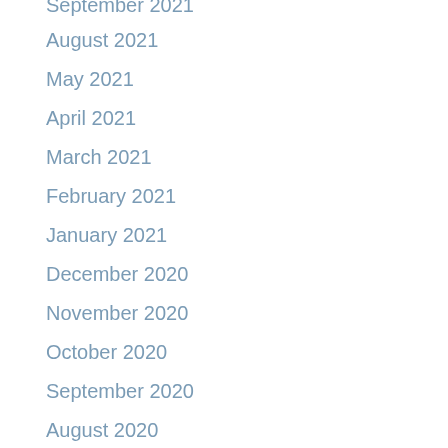September 2021
August 2021
May 2021
April 2021
March 2021
February 2021
January 2021
December 2020
November 2020
October 2020
September 2020
August 2020
July 2020
December 2019